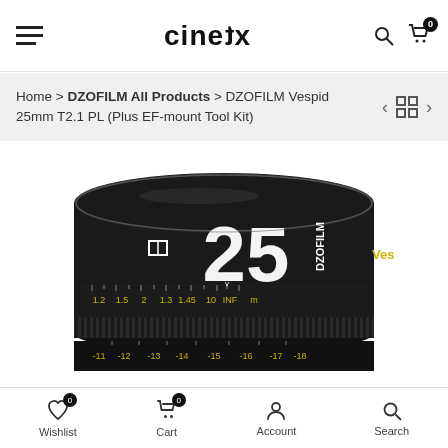CINEtX
Home > DZOFILM All Products > DZOFILM Vespid 25mm T2.1 PL (Plus EF-mount Tool Kit)
[Figure (photo): Photo of a DZOFILM Vespid 25mm cinema lens, black cylindrical body with yellow focus distance markings, shown from the front at slight angle. The lens shows '25' prominently on the focus ring, with DZOFILM branding and 'Vespid' text visible. Focus ring shows markings including INF, 1.4, 1.5, 2, 1.3, 1.45, 10, and metric distance markers.]
Wishlist  Cart  Account  Search